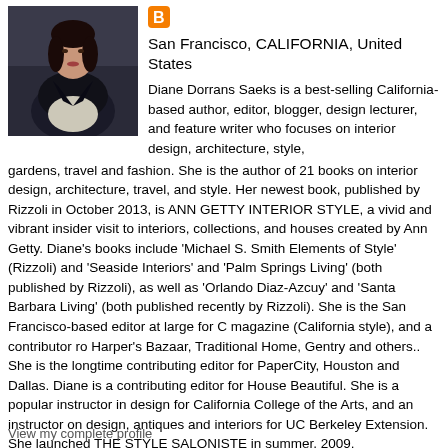[Figure (photo): Portrait photo of a woman in dark jacket against dark chair background]
[Figure (logo): Blogger 'B' icon in orange/red square]
San Francisco, CALIFORNIA, United States
Diane Dorrans Saeks is a best-selling California- based author, editor, blogger, design lecturer, and feature writer who focuses on interior design, architecture, style, gardens, travel and fashion. She is the author of 21 books on interior design, architecture, travel, and style. Her newest book, published by Rizzoli in October 2013, is ANN GETTY INTERIOR STYLE, a vivid and vibrant insider visit to interiors, collections, and houses created by Ann Getty. Diane's books include 'Michael S. Smith Elements of Style' (Rizzoli) and 'Seaside Interiors' and 'Palm Springs Living' (both published by Rizzoli), as well as 'Orlando Diaz-Azcuy' and 'Santa Barbara Living' (both published recently by Rizzoli). She is the San Francisco-based editor at large for C magazine (California style), and a contributor ro Harper's Bazaar, Traditional Home, Gentry and others.. She is the longtime contributing editor for PaperCity, Houston and Dallas. Diane is a contributing editor for House Beautiful. She is a popular instructor in design for California College of the Arts, and an instructor on design, antiques and interiors for UC Berkeley Extension. She launched THE STYLE SALONISTE in summer, 2009.
View my complete profile